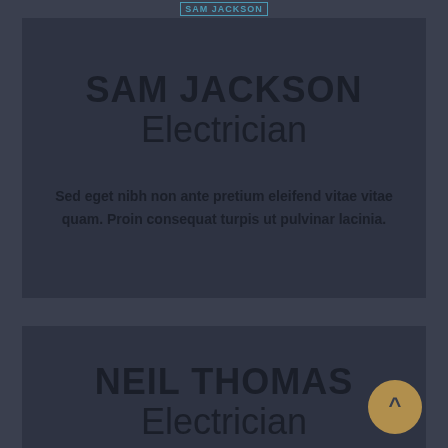[Figure (photo): SAM JACKSON profile photo placeholder at top of page]
SAM JACKSON
Electrician
Sed eget nibh non ante pretium eleifend vitae vitae quam. Proin consequat turpis ut pulvinar lacinia.
[Figure (photo): NEIL THOMAS profile photo placeholder]
NEIL THOMAS
Electrician
Sed eget nibh non ante pretium eleifend vitae